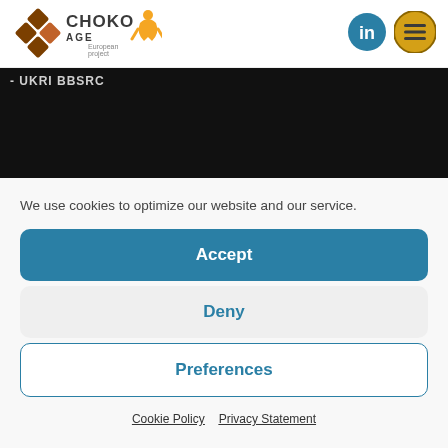[Figure (logo): ChokoAGE European project logo with chocolate diamond shapes and orange figure]
[Figure (logo): LinkedIn icon - blue circle with 'in']
[Figure (logo): Menu icon - gold circle with three horizontal lines]
[Figure (photo): Dark image strip with text '- UKRI BBSRC' in top left]
We use cookies to optimize our website and our service.
Accept
Deny
Preferences
Cookie Policy   Privacy Statement